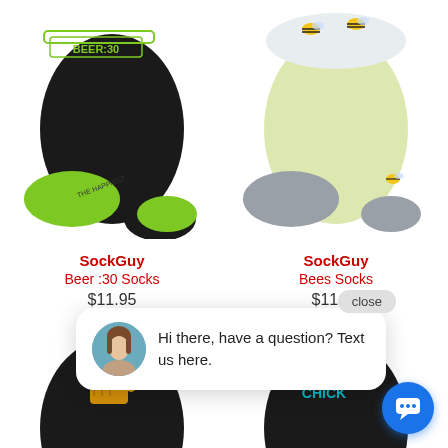[Figure (photo): Black ankle sock with green heel/toe and BEER:30 text on cuff, side view]
SockGuy
Beer :30 Socks
$11.95
[Figure (photo): Light yellow/green ankle sock with bees pattern on cuff and grey heel/toe, side view]
SockGuy
Bees Socks
$11.95
[Figure (screenshot): Chat popup with avatar of woman and text: Hi there, have a question? Text us here. With close button and blue chat FAB button.]
[Figure (photo): Black ankle sock with beer mug graphic, partially visible at bottom-left]
[Figure (photo): Black ankle sock with CHICK text, partially visible at bottom-right]